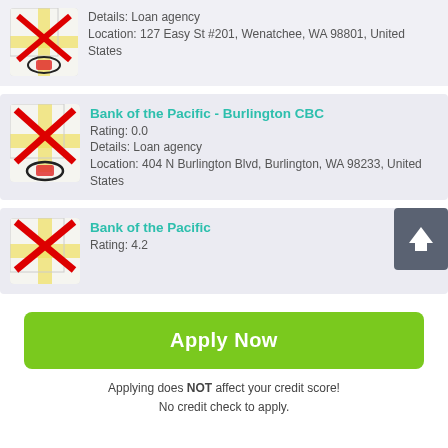[Figure (screenshot): Map icon with red X overlay for first card (partial, top of page)]
Details: Loan agency
Location: 127 Easy St #201, Wenatchee, WA 98801, United States
[Figure (screenshot): Map icon with red X overlay for Bank of the Pacific - Burlington CBC]
Bank of the Pacific - Burlington CBC
Rating: 0.0
Details: Loan agency
Location: 404 N Burlington Blvd, Burlington, WA 98233, United States
[Figure (screenshot): Map icon with red X overlay for Bank of the Pacific]
Bank of the Pacific
Rating: 4.2
Apply Now
Applying does NOT affect your credit score!
No credit check to apply.